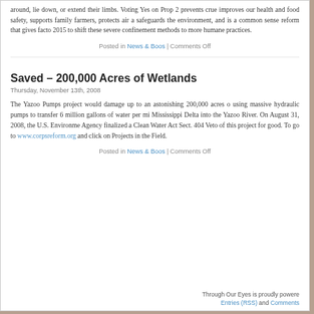around, lie down, or extend their limbs. Voting Yes on Prop 2 prevents crue improves our health and food safety, supports family farmers, protects air a safeguards the environment, and is a common sense reform that gives facto 2015 to shift these severe confinement methods to more humane practices.
Posted in News & Boos | Comments Off
Saved – 200,000 Acres of Wetlands
Thursday, November 13th, 2008
The Yazoo Pumps project would damage up to an astonishing 200,000 acres using massive hydraulic pumps to transfer 6 million gallons of water per mi Mississippi Delta into the Yazoo River. On August 31, 2008, the U.S. Environme Agency finalized a Clean Water Act Sect. 404 Veto of this project for good. To go to www.corpsreform.org and click on Projects in the Field.
Posted in News & Boos | Comments Off
Through Our Eyes is proudly powere Entries (RSS) and Comments